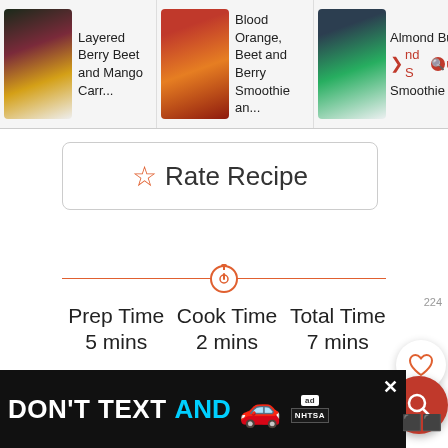[Figure (screenshot): Top navigation bar showing three recipe thumbnail cards: 'Layered Berry Beet and Mango Carr...', 'Blood Orange, Beet and Berry Smoothie an...', 'Almond Bu... nd Spuli... Smoothie b...' with a search icon overlay]
Rate Recipe
Prep Time
5 mins
Cook Time
2 mins
Total Time
7 mins
COURSE
CUISINE
[Figure (screenshot): DON'T TEXT AND [car emoji] advertisement banner with ad badge and NHTSA logo]